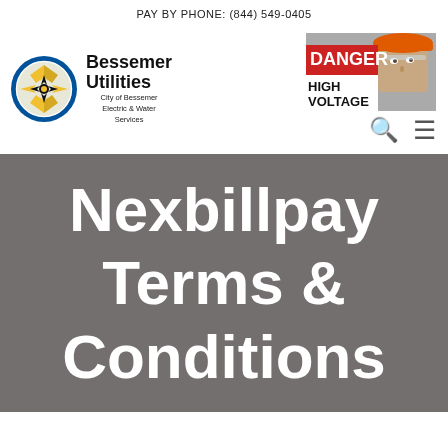PAY BY PHONE: (844) 549-0405
[Figure (logo): Bessemer Utilities logo: circular seal with star/compass design, blue border. Text: Bessemer Utilities, City of Bessemer Electric & Water Services]
[Figure (photo): Photo of worker with orange hard hat next to a DANGER HIGH VOLTAGE sign]
Nexbillpay Terms & Conditions